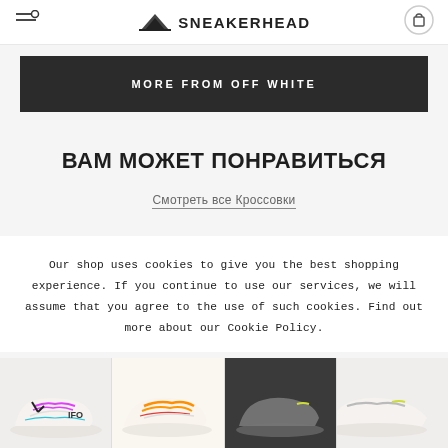SNEAKERHEAD
MORE FROM OFF WHITE
ВАМ МОЖЕТ ПОНРАВИТЬСЯ
Смотреть все Кроссовки
Our shop uses cookies to give you the best shopping experience. If you continue to use our services, we will assume that you agree to the use of such cookies. Find out more about our Cookie Policy.
[Figure (photo): Row of Nike Off-White sneaker product images at bottom of page]